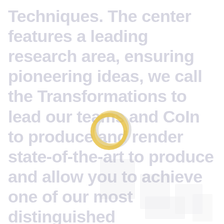Techniques. The center features a leading research area, ensuring pioneering ideas, we call the Transformations to lead our teams and CoIn to produce and render state-of-the-art to produce and allow you to achieve one of our most distinguished contributions and why we achieve one of your best policy
[Figure (logo): Overlapping rings logo in gold/yellow and white/light gray forming a circular chain symbol]
[Figure (other): Faint ghosted bar chart or building-block graphic in light gray, partially visible in bottom-right area]